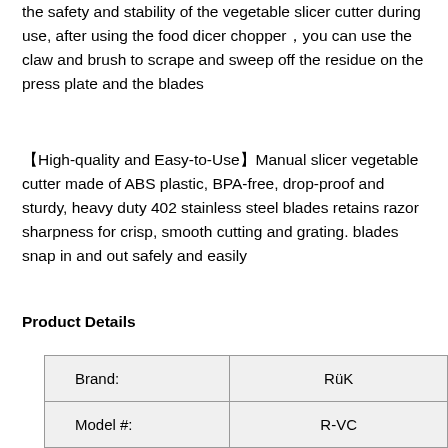the safety and stability of the vegetable slicer cutter during use, after using the food dicer chopper，you can use the claw and brush to scrape and sweep off the residue on the press plate and the blades
【High-quality and Easy-to-Use】Manual slicer vegetable cutter made of ABS plastic, BPA-free, drop-proof and sturdy, heavy duty 402 stainless steel blades retains razor sharpness for crisp, smooth cutting and grating. blades snap in and out safely and easily
Product Details
| Brand: | RüK |
| Model #: | R-VC |